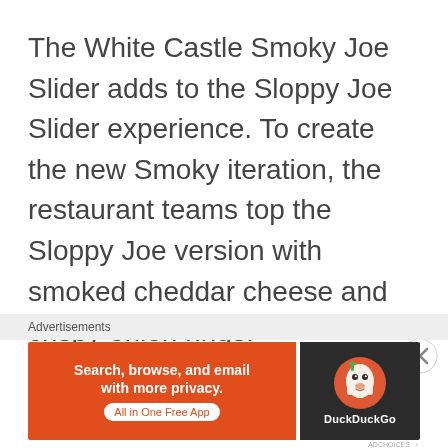The White Castle Smoky Joe Slider adds to the Sloppy Joe Slider experience. To create the new Smoky iteration, the restaurant teams top the Sloppy Joe version with smoked cheddar cheese and crispy onion rings.
Advertisements
[Figure (other): DuckDuckGo advertisement banner with orange left panel reading 'Search, browse, and email with more privacy. All in One Free App' and dark right panel with DuckDuckGo duck logo and brand name.]